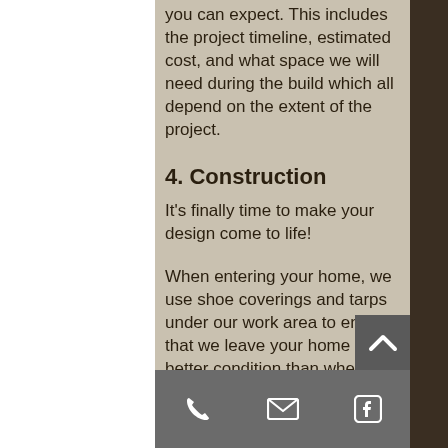you can expect. This includes the project timeline, estimated cost, and what space we will need during the build which all depend on the extent of the project.
4. Construction
It's finally time to make your design come to life!
When entering your home, we use shoe coverings and tarps under our work area to ensure that we leave your home in better condition than when we came.
5. Enjoy your New, Custom
Finally, your customized fireplace is
phone | email | facebook